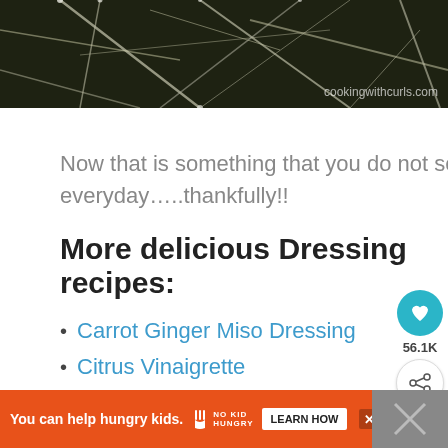[Figure (photo): Photo of frost-covered tree branches with dark background, watermark 'cookingwithcurls.com' in bottom right]
Now that is something that you do not see everyday…..thankfully!!
More delicious Dressing recipes:
Carrot Ginger Miso Dressing
Citrus Vinaigrette
Sweet Onion and Citrus Dressing
Whole 30 Ranch Dressing – can be
made with regular ingredients if you
You can help hungry kids. NO KID HUNGRY LEARN HOW